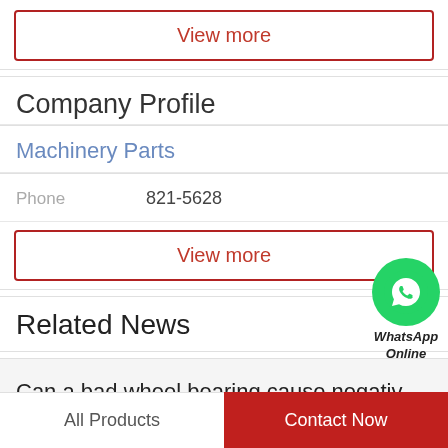View more
Company Profile
Machinery Parts
Phone  821-5628
[Figure (logo): WhatsApp Online green circle badge with phone icon, text WhatsApp Online]
View more
Related News
Can a bad wheel bearing cause negativ...
All Products
Contact Now